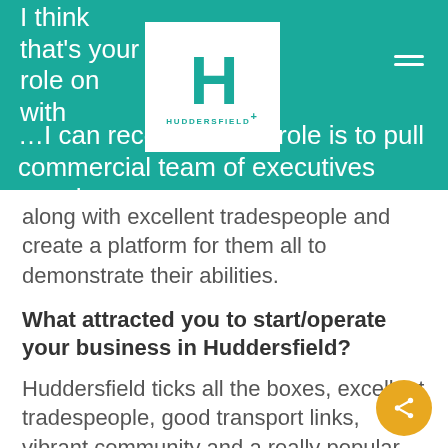HUDDERSFIELD+
along with excellent tradespeople and create a platform for them all to demonstrate their abilities.
What attracted you to start/operate your business in Huddersfield?
Huddersfield ticks all the boxes, excellent tradespeople, good transport links, vibrant community and a really popular place to boast we work out of.
Name some of your biggest business achievements: